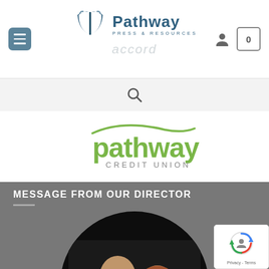Pathway Press & Resources — Navigation header with menu button, logo, user icon, cart (0)
[Figure (logo): Pathway Press & Resources logo with open book icon and text]
[Figure (logo): Search bar with magnifying glass icon]
[Figure (logo): Pathway Credit Union logo in green with swoosh accent]
MESSAGE FROM OUR DIRECTOR
[Figure (photo): Circular cropped photo of a bald man and a woman with auburn hair against dark background]
[Figure (other): reCAPTCHA badge with Privacy and Terms links]